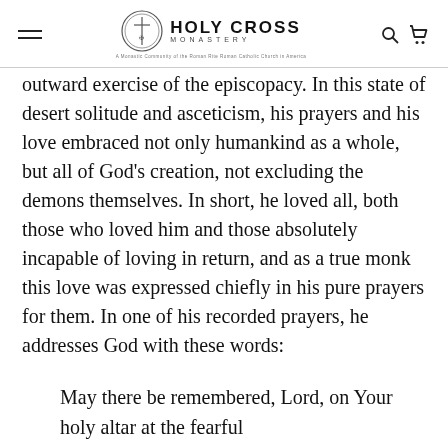HOLY CROSS MONASTERY
outward exercise of the episcopacy. In this state of desert solitude and asceticism, his prayers and his love embraced not only humankind as a whole, but all of God's creation, not excluding the demons themselves. In short, he loved all, both those who loved him and those absolutely incapable of loving in return, and as a true monk this love was expressed chiefly in his pure prayers for them. In one of his recorded prayers, he addresses God with these words:
May there be remembered, Lord, on Your holy altar at the fearful